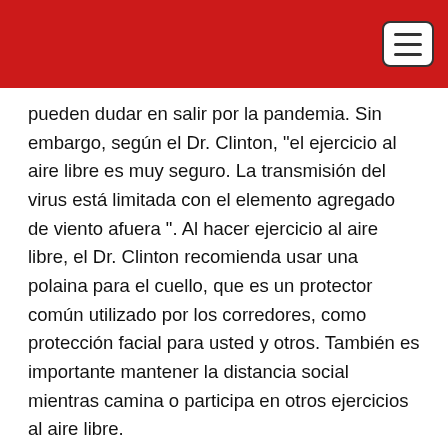pueden dudar en salir por la pandemia. Sin embargo, según el Dr. Clinton, “el ejercicio al aire libre es muy seguro. La transmisión del virus está limitada con el elemento agregado de viento afuera ”. Al hacer ejercicio al aire libre, el Dr. Clinton recomienda usar una polaina para el cuello, que es un protector común utilizado por los corredores, como protección facial para usted y otros. También es importante mantener la distancia social mientras camina o participa en otros ejercicios al aire libre.
Nuestros expertos hacen las siguientes recomendaciones para toda la familia: